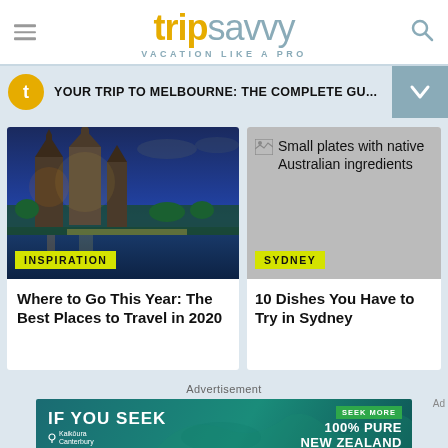tripsavvy VACATION LIKE A PRO
YOUR TRIP TO MELBOURNE: THE COMPLETE GU...
[Figure (photo): Cathedral and gardens at dusk in a city, colorfully lit]
INSPIRATION
Where to Go This Year: The Best Places to Travel in 2020
[Figure (photo): Small plates with native Australian ingredients (broken image)]
SYDNEY
10 Dishes You Have to Try in Sydney
Advertisement
[Figure (infographic): IF YOU SEEK advertisement banner for New Zealand tourism (Kaikōura, Canterbury). SEEK MORE 100% PURE NEW ZEALAND]